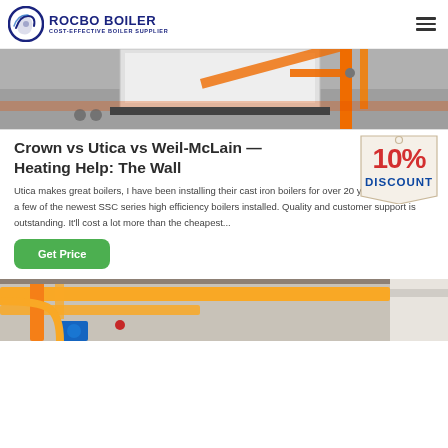[Figure (logo): ROCBO BOILER logo with circular blue icon and text 'COST-EFFECTIVE BOILER SUPPLIER']
[Figure (photo): Industrial boiler installation with orange/yellow pipes on concrete floor]
Crown vs Utica vs Weil-McLain — Heating Help: The Wall
[Figure (other): 10% DISCOUNT badge/sticker in red and blue]
Utica makes great boilers, I have been installing their cast iron boilers for over 20 years, and I have a few of the newest SSC series high efficiency boilers installed. Quality and customer support is outstanding. It'll cost a lot more than the cheapest...
[Figure (other): Get Price green button]
[Figure (photo): Industrial facility with yellow pipes and overhead equipment]